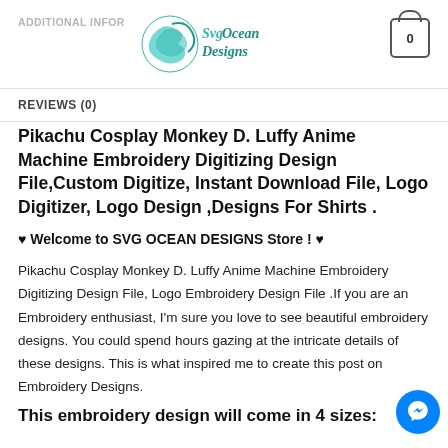ADDITIONAL INFO — SvgOceanDesigns logo — Cart [0]
REVIEWS (0)
Pikachu Cosplay Monkey D. Luffy Anime Machine Embroidery Digitizing Design File,Custom Digitize, Instant Download File, Logo Digitizer, Logo Design ,Designs For Shirts .
♥ Welcome to SVG OCEAN DESIGNS Store ! ♥
Pikachu Cosplay Monkey D. Luffy Anime Machine Embroidery Digitizing Design File, Logo Embroidery Design File .If you are an Embroidery enthusiast, I'm sure you love to see beautiful embroidery designs. You could spend hours gazing at the intricate details of these designs. This is what inspired me to create this post on Embroidery Designs.
This embroidery design will come in 4 sizes: